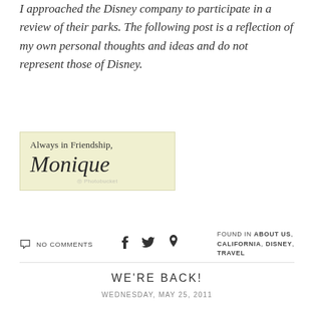I approached the Disney company to participate in a review of their parks. The following post is a reflection of my own personal thoughts and ideas and do not represent those of Disney.
[Figure (illustration): Signature block with light yellow-green background reading 'Always in Friendship,' followed by a cursive signature 'Monique'. A faint Photobucket watermark is overlaid.]
NO COMMENTS
FOUND IN ABOUT US, CALIFORNIA, DISNEY, TRAVEL
WE'RE BACK!
WEDNESDAY, MAY 25, 2011